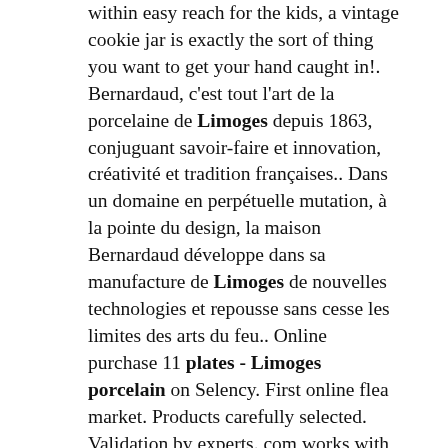within easy reach for the kids, a vintage cookie jar is exactly the sort of thing you want to get your hand caught in!. Bernardaud, c'est tout l'art de la porcelaine de Limoges depuis 1863, conjuguant savoir-faire et innovation, créativité et tradition françaises.. Dans un domaine en perpétuelle mutation, à la pointe du design, la maison Bernardaud développe dans sa manufacture de Limoges de nouvelles technologies et repousse sans cesse les limites des arts du feu.. Online purchase 11 plates - Limoges porcelain on Selency. First online flea market. Products carefully selected. Validation by experts. com works with experienced tableware dealers, who'll look for the top quality pieces you want in Johann Haviland China Blue Garland (Bavarian Backstamp) 50 shipping Bavarian fine china, or porcelain, began to be produced in southern Germany in the late 1800s and early 1900s, and followed the